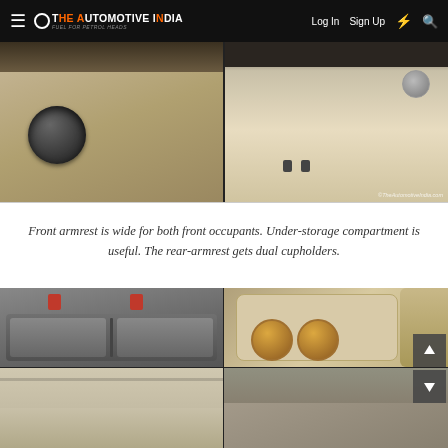The Automotive India — Log In  Sign Up
[Figure (photo): Two-panel automotive interior photo: left panel shows a round black window/vent control on beige door panel; right panel shows a beige interior cargo area with speaker grille and two small hooks at the bottom. Watermark: ©TheAutomotiveIndia.com]
Front armrest is wide for both front occupants. Under-storage compartment is useful. The rear-armrest gets dual cupholders.
[Figure (photo): Four-panel grid of automotive interior photos: top-left shows open under-armrest storage compartment with gray divider bins and red seatbelt clasps; top-right shows rear armrest with dual cupholders on beige upholstery; bottom-left shows close-up of beige rear seat/armrest area; bottom-right shows gray seat area with red seatbelt clasp. Navigation up/down arrows on right side.]